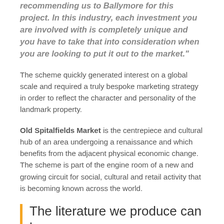recommending us to Ballymore for this project. In this industry, each investment you are involved with is completely unique and you have to take that into consideration when you are looking to put it out to the market."
The scheme quickly generated interest on a global scale and required a truly bespoke marketing strategy in order to reflect the character and personality of the landmark property.
Old Spitalfields Market is the centrepiece and cultural hub of an area undergoing a renaissance and which benefits from the adjacent physical economic change. The scheme is part of the engine room of a new and growing circuit for social, cultural and retail activity that is becoming known across the world.
The literature we produce can have